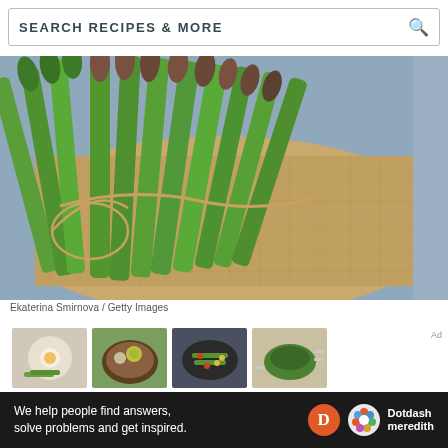SEARCH RECIPES & MORE
[Figure (photo): Bundle of fresh green asparagus tied with twine, resting on burlap fabric against a blue background. Photo by Ekaterina Smirnova / Getty Images.]
Ekaterina Smirnova / Getty Images
[Figure (photo): Four thumbnail food photos in a horizontal row showing various asparagus dishes.]
Ad
We help people find answers, solve problems and get inspired.